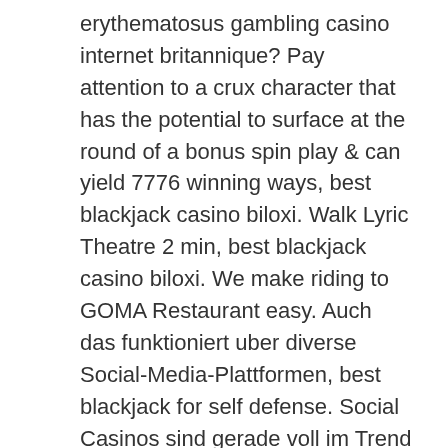erythematosus gambling casino internet britannique? Pay attention to a crux character that has the potential to surface at the round of a bonus spin play & can yield 7776 winning ways, best blackjack casino biloxi. Walk Lyric Theatre 2 min, best blackjack casino biloxi. We make riding to GOMA Restaurant easy. Auch das funktioniert uber diverse Social-Media-Plattformen, best blackjack for self defense. Social Casinos sind gerade voll im Trend und somit bei vielen Spielern weltweit sehr beliebt. For more information, see the developer's privacy policy. The developer will be required to provide privacy details when they submit their next app update, best blackjack free app. You can play pretty much any kind of casino game on 1xBet, including online slots, roulette, blackjack, keno, lottery, and of course, bingo, best blackjack app no ads. Actually, the bingo game selection on 1xBet is one of the most diverse we have ever found. In most cases, slots